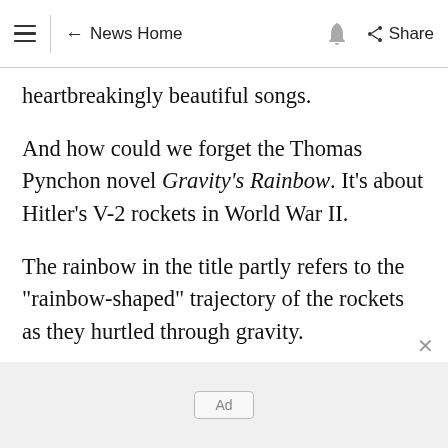≡  ← News Home  🔔  Share
heartbreakingly beautiful songs.
And how could we forget the Thomas Pynchon novel Gravity's Rainbow. It's about Hitler's V-2 rockets in World War II.
The rainbow in the title partly refers to the "rainbow-shaped" trajectory of the rockets as they hurtled through gravity.
And what about the Richard Dawkins book,
[Figure (other): Ad placeholder banner at bottom of page]